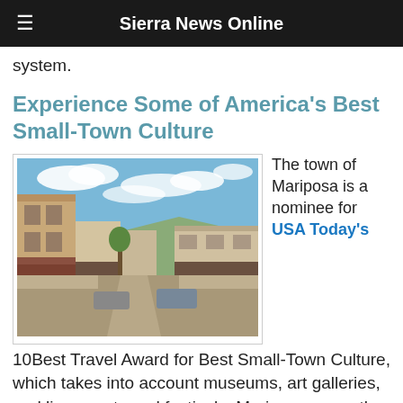Sierra News Online
system.
Experience Some of America's Best Small-Town Culture
[Figure (photo): Street view of historic downtown Mariposa, California, showing old western-style buildings lining a main street with a blue sky and clouds overhead.]
The town of Mariposa is a nominee for USA Today's 10Best Travel Award for Best Small-Town Culture, which takes into account museums, art galleries, and live events and festivals. Mariposa currently leads the voting, and for good reason. With three museums, three art